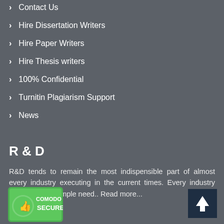> Contact Us
> Hire Dissertation Writers
> Hire Paper Writers
> Hire Thesis writers
> 100% Confidential
> Turnitin Plagiarism Support
> News
R & D
R&D tends to remain the most indispensible part of almost every industry executing in the current times. Every industry remains in the ample need.. Read more...
[Figure (logo): Comodo Secure badge with thumbs up icon]
[Figure (other): Back to top button with upward arrow]